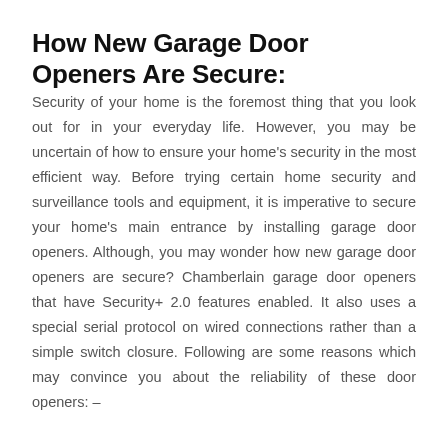How New Garage Door Openers Are Secure:
Security of your home is the foremost thing that you look out for in your everyday life. However, you may be uncertain of how to ensure your home's security in the most efficient way. Before trying certain home security and surveillance tools and equipment, it is imperative to secure your home's main entrance by installing garage door openers. Although, you may wonder how new garage door openers are secure? Chamberlain garage door openers that have Security+ 2.0 features enabled. It also uses a special serial protocol on wired connections rather than a simple switch closure. Following are some reasons which may convince you about the reliability of these door openers: –